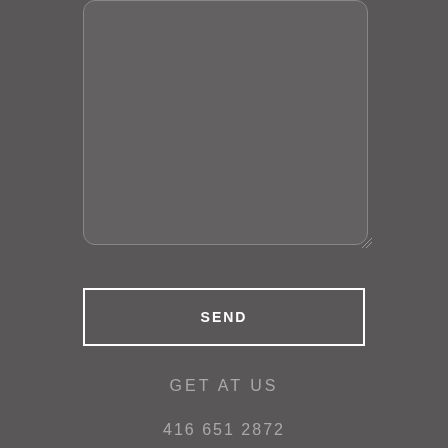[Figure (screenshot): A rounded rectangle text area input box with grey background, partially shown at top of page]
SEND
GET AT US
416 651 2872